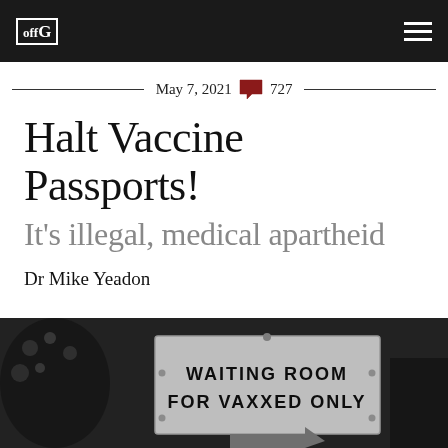offG
May 7, 2021 💬 727
Halt Vaccine Passports!
It's illegal, medical apartheid
Dr Mike Yeadon
[Figure (photo): Black and white photograph showing a sign reading WAITING ROOM FOR VAXXED ONLY, reminiscent of segregation-era signs]